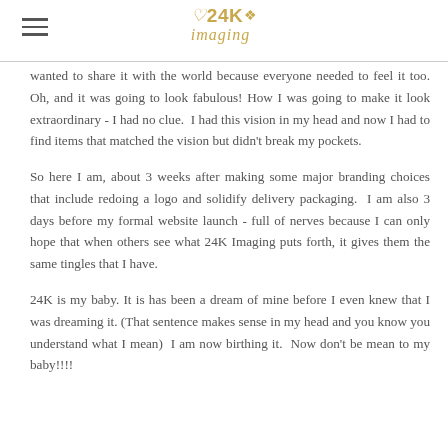24K Imaging
wanted to share it with the world because everyone needed to feel it too. Oh, and it was going to look fabulous! How I was going to make it look extraordinary - I had no clue.  I had this vision in my head and now I had to find items that matched the vision but didn't break my pockets.
So here I am, about 3 weeks after making some major branding choices that include redoing a logo and solidify delivery packaging.  I am also 3 days before my formal website launch - full of nerves because I can only hope that when others see what 24K Imaging puts forth, it gives them the same tingles that I have.
24K is my baby. It is has been a dream of mine before I even knew that I was dreaming it. (That sentence makes sense in my head and you know you understand what I mean)  I am now birthing it.  Now don't be mean to my baby!!!!